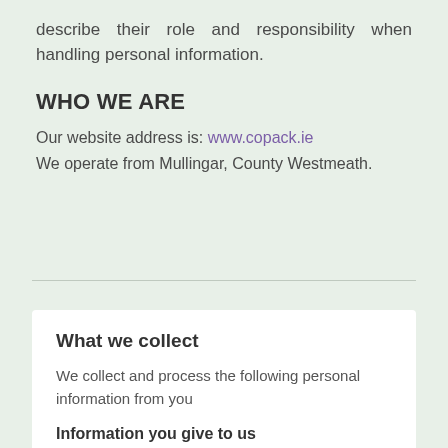describe their role and responsibility when handling personal information.
WHO WE ARE
Our website address is: www.copack.ie
We operate from Mullingar, County Westmeath.
What we collect
We collect and process the following personal information from you
Information you give to us